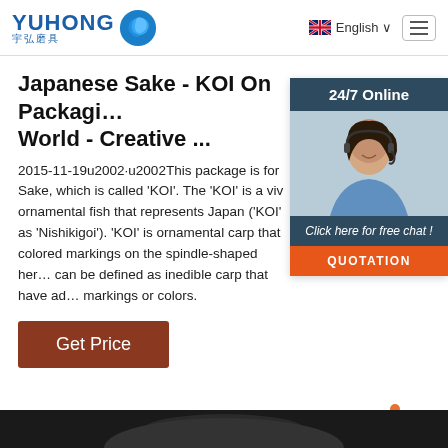[Figure (logo): Yuhong logo with Chinese characters and blue wave icon]
English
[Figure (infographic): 24/7 Online customer service widget with photo of woman with headset, Click here for free chat button, and QUOTATION button]
Japanese Sake - KOI On Packaging World - Creative ...
2015-11-19u2002·u2002This package is for Sake, which is called 'KOI'. The 'KOI' is a viv ornamental fish that represents Japan ('KOI' as 'Nishikigoi'). 'KOI' is ornamental carp that colored markings on the spindle-shaped here can be defined as inedible carp that have ad markings or colors.
Get Price
[Figure (other): TOP navigation button with orange dots and text]